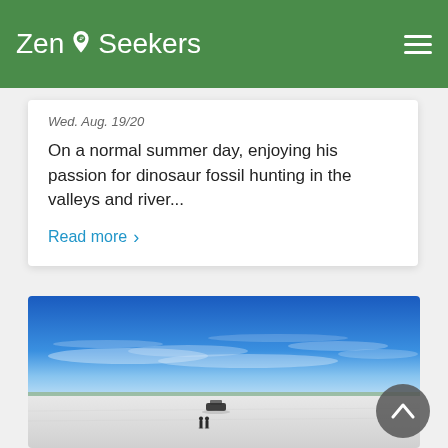A DAY AT THE CURRIE MUSEUM
Zen Seekers
Wed. Aug. 19/20
On a normal summer day, enjoying his passion for dinosaur fossil hunting in the valleys and river...
Read more ›
[Figure (photo): Wide open flat snowy or salt flat landscape under a bright blue sky with wispy clouds. Two small figures stand in the foreground on the white ground, with a dark vehicle/object behind them in the distance. Flat terrain with distant low hills or tree line on the horizon.]